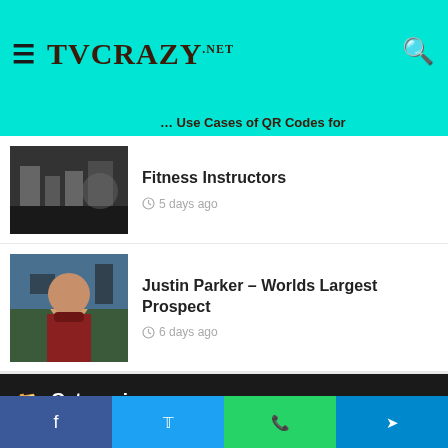TVCRAZY.NET
... Use Cases of QR Codes for Fitness Instructors
[Figure (photo): Black and white photo of a gym interior with exercise equipment]
Fitness Instructors
5 days ago
[Figure (photo): Man in dark red shirt and cap smiling at a sports venue]
Justin Parker – Worlds Largest Prospect
6 days ago
[Figure (photo): People playing ladder golf outdoors on a grassy field]
Ladder Golf-A Great New Outdoor Game
1 week ago
Categories
Facebook Twitter WhatsApp Telegram